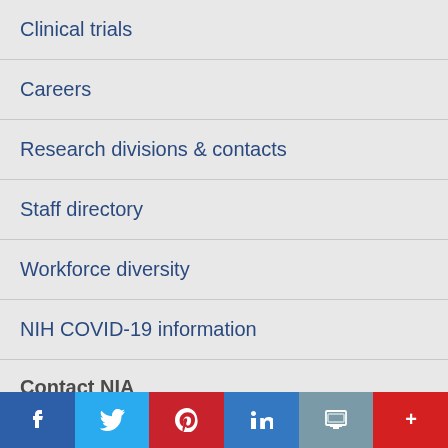Clinical trials
Careers
Research divisions & contacts
Staff directory
Workforce diversity
NIH COVID-19 information
Contact NIA
niaic@nia.nih.gov